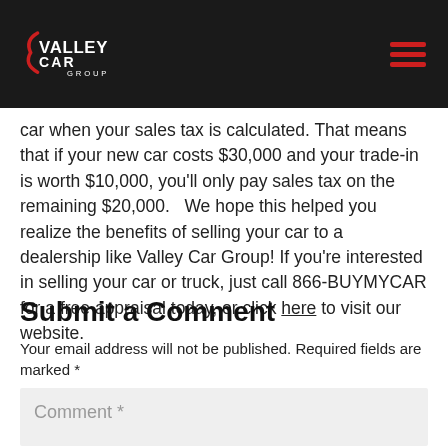Valley Car Group logo and navigation header
car when your sales tax is calculated. That means that if your new car costs $30,000 and your trade-in is worth $10,000, you'll only pay sales tax on the remaining $20,000.   We hope this helped you realize the benefits of selling your car to a dealership like Valley Car Group! If you're interested in selling your car or truck, just call 866-BUYMYCAR for a free appraisal today, or click here to visit our website.
Submit a Comment
Your email address will not be published. Required fields are marked *
Comment *